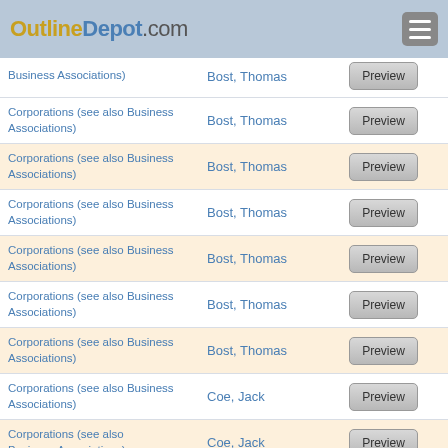OutlineDepot.com
Corporations (see also Business Associations) | Bost, Thomas | Preview
Corporations (see also Business Associations) | Bost, Thomas | Preview
Corporations (see also Business Associations) | Bost, Thomas | Preview
Corporations (see also Business Associations) | Bost, Thomas | Preview
Corporations (see also Business Associations) | Bost, Thomas | Preview
Corporations (see also Business Associations) | Bost, Thomas | Preview
Corporations (see also Business Associations) | Bost, Thomas | Preview
Corporations (see also Business Associations) | Coe, Jack | Preview
Corporations (see also Business Associations) | Coe, Jack | Preview